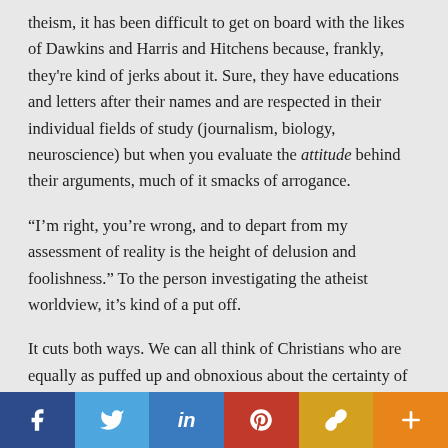theism, it has been difficult to get on board with the likes of Dawkins and Harris and Hitchens because, frankly, they're kind of jerks about it. Sure, they have educations and letters after their names and are respected in their individual fields of study (journalism, biology, neuroscience) but when you evaluate the attitude behind their arguments, much of it smacks of arrogance.
“I’m right, you’re wrong, and to depart from my assessment of reality is the height of delusion and foolishness.” To the person investigating the atheist worldview, it’s kind of a put off.
It cuts both ways. We can all think of Christians who are equally as puffed up and obnoxious about the certainty of their beliefs. Many a Christian’s attitude has actually driven people from the church and faith altogether.